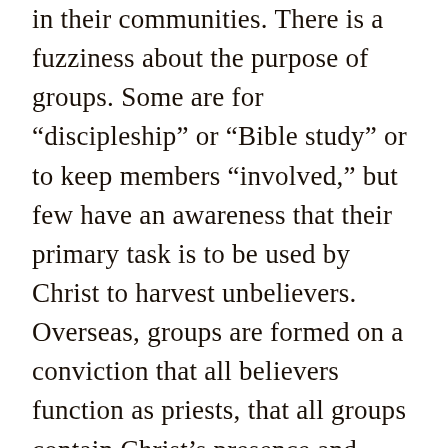in their communities. There is a fuzziness about the purpose of groups. Some are for “discipleship” or “Bible study” or to keep members “involved,” but few have an awareness that their primary task is to be used by Christ to harvest unbelievers. Overseas, groups are formed on a conviction that all believers function as priests, that all groups contain Christ’s presence and power and that Christ dwells in His new body to draw all men to the Cross. He does this by energizing the body members to edify, exhort, and console one another. The observation of this by searching unbelievers reveals His presence, leading to repentance and salvation. Thus growth takes place as new believers are added to the groups.